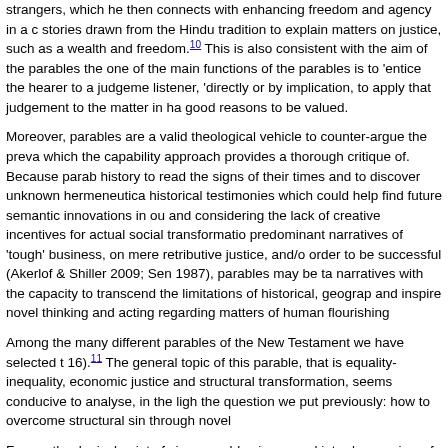(2001:175-176) uses the Parable of the Good Samaritan to illustrate how justice requires aid to strangers, which he then connects with enhancing freedom and agency in a community. Sen also uses stories drawn from the Hindu tradition to explain matters on justice, such as a the relationship between wealth and freedom.10 This is also consistent with the aim of the parables the listener, 'directly or by implication, to apply that judgement to the matter in hand', which are good reasons to be valued.
Moreover, parables are a valid theological vehicle to counter-argue the prevailing narratives, which the capability approach provides a thorough critique of. Because parables use history to read the signs of their times and to discover unknown hermeneutical keys in historical testimonies which could help find future semantic innovations in our language, and considering the lack of creative incentives for actual social transformation in the predominant narratives of 'tough' business, on mere retributive justice, and/or needed in order to be successful (Akerlof & Shiller 2009; Sen 1987), parables may be taken as narratives with the capacity to transcend the limitations of historical, geographical context and inspire novel thinking and acting regarding matters of human flourishing.
Among the many different parables of the New Testament we have selected the one in Mt 20:1-16).11 The general topic of this parable, that is equality-inequality, economic redistribution justice and structural transformation, seems conducive to analyse, in the light of theology, the question we put previously: how to overcome structural sin through novel narratives.
From a theological point of view, parables in general introduce a view of God that counters the prevailing economic and religious notions of the time on those issues. In particular, God's justice is not introduced as mere 'retribution', nor is his power presented in a fatalistic way (Söding 2012). Hence, the parable is open to, and indeed requires new ideas on human flourishing.12
The parable is carefully framed in two scenes. In the first one (vv. 1-7), the master of a vineyard. Although many details are missed out, such as why the master keeps going...